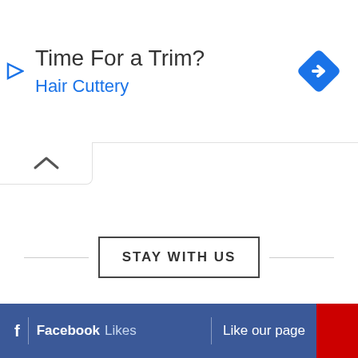[Figure (screenshot): Advertisement banner for Hair Cuttery. Shows text 'Time For a Trim?' and 'Hair Cuttery' in blue, with a blue diamond navigation icon on the right and a play icon on the left.]
[Figure (screenshot): UI collapse/chevron tab button showing an upward caret (^) symbol.]
STAY WITH US
[Figure (screenshot): Facebook like bar with 'f | Facebook Likes | Like our page' text and a red button on the right.]